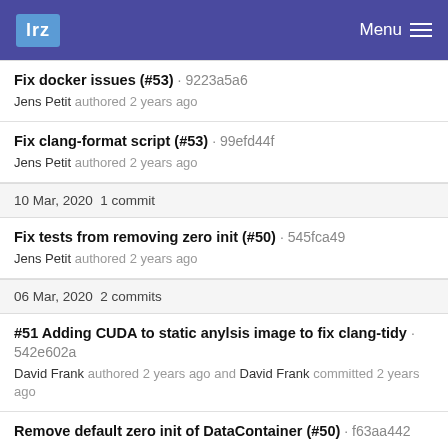lrz  Menu
Fix docker issues (#53) · 9223a5a6
Jens Petit authored 2 years ago
Fix clang-format script (#53) · 99efd44f
Jens Petit authored 2 years ago
10 Mar, 2020  1 commit
Fix tests from removing zero init (#50) · 545fca49
Jens Petit authored 2 years ago
06 Mar, 2020  2 commits
#51 Adding CUDA to static anylsis image to fix clang-tidy · 542e602a
David Frank authored 2 years ago and David Frank committed 2 years ago
Remove default zero init of DataContainer (#50) · f63aa442